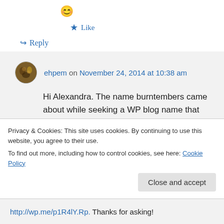[Figure (illustration): Emoji smiley face icon]
★ Like
↪ Reply
ehpem on November 24, 2014 at 10:38 am
Hi Alexandra. The name burntembers came about while seeking a WP blog name that had not yet been used (not all that easy) and which hinted at the nearly cold embers
Privacy & Cookies: This site uses cookies. By continuing to use this website, you agree to their use.
To find out more, including how to control cookies, see here: Cookie Policy
Close and accept
http://wp.me/p1R4lY.Rp. Thanks for asking!